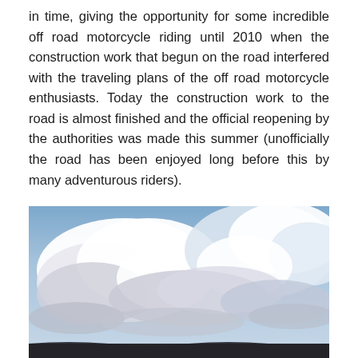in time, giving the opportunity for some incredible off road motorcycle riding until 2010 when the construction work that begun on the road interfered with the traveling plans of the off road motorcycle enthusiasts. Today the construction work to the road is almost finished and the official reopening by the authorities was made this summer (unofficially the road has been enjoyed long before this by many adventurous riders).
[Figure (photo): Outdoor photograph showing a dramatic sky with large white and grey clouds over a dark landscape horizon. The sky is mostly blue with heavy cumulus clouds dominating the upper portion of the image.]